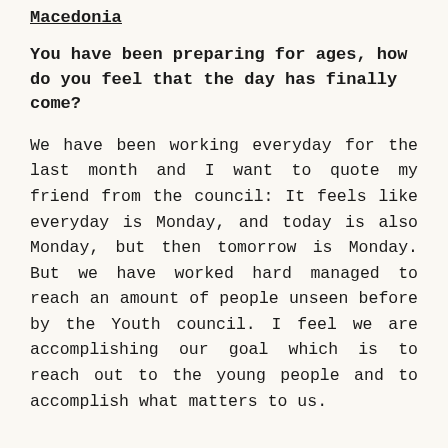Macedonia
You have been preparing for ages, how do you feel that the day has finally come?
We have been working everyday for the last month and I want to quote my friend from the council: It feels like everyday is Monday, and today is also Monday, but then tomorrow is Monday. But we have worked hard managed to reach an amount of people unseen before by the Youth council. I feel we are accomplishing our goal which is to reach out to the young people and to accomplish what matters to us.